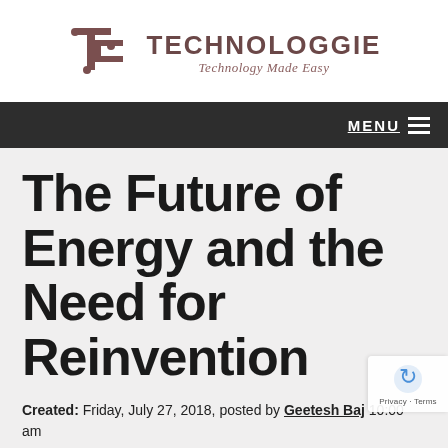[Figure (logo): Technologgie logo with stylized 'Te' icon in brown/mauve color and text 'TECHNOLOGGIE' with tagline 'Technology Made Easy']
MENU
The Future of Energy and the Need for Reinvention
Created: Friday, July 27, 2018, posted by Geetesh Baj... 10:00 am